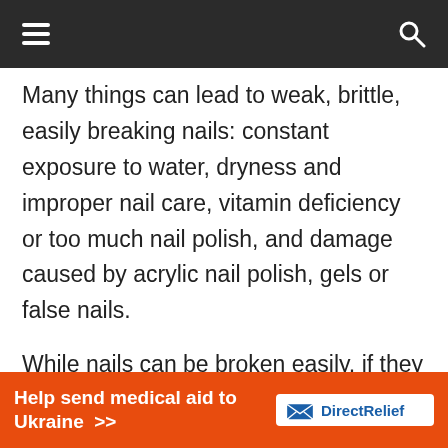≡  🔍
Many things can lead to weak, brittle, easily breaking nails: constant exposure to water, dryness and improper nail care, vitamin deficiency or too much nail polish, and damage caused by acrylic nail polish, gels or false nails.
While nails can be broken easily, if they are not properly cared for and protected, it can weaken the nails,
[Figure (infographic): Orange advertisement banner reading 'Help send medical aid to Ukraine >>' with Direct Relief logo on white background on the right side.]